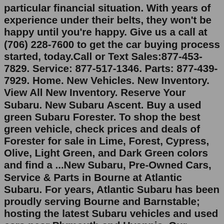particular financial situation. With years of experience under their belts, they won't be happy until you're happy. Give us a call at (706) 228-7600 to get the car buying process started, today.Call or Text Sales:877-453-7829. Service: 877-517-1346. Parts: 877-439-7929. Home. New Vehicles. New Inventory. View All New Inventory. Reserve Your Subaru. New Subaru Ascent. Buy a used green Subaru Forester. To shop the best green vehicle, check prices and deals of Forester for sale in Lime, Forest, Cypress, Olive, Light Green, and Dark Green colors and find a ...New Subaru, Pre-Owned Cars, Service & Parts in Bourne at Atlantic Subaru. For years, Atlantic Subaru has been proudly serving Bourne and Barnstable; hosting the latest Subaru vehicles and used cars near Plymouth and Hyannis. Our customers from Falmouth and Mashpee can also count on us to deliver premier Subaru service and auto service as well as certified auto parts.On our lot we have new models like the 2021-2022 Subaru Outback, Subaru Legacy, Subaru Forester, Subaru BRZ, Subaru Crosstrek...